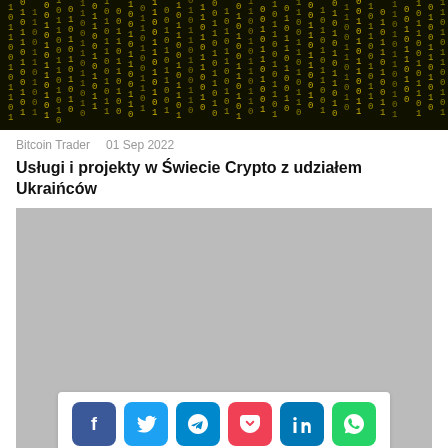[Figure (photo): Matrix-style green/yellow digital rain on dark background, hero image for article]
Bitcoin Trader    01 Sep 2022
Usługi i projekty w Świecie Crypto z udziałem Ukraińców
[Figure (other): Gray advertisement placeholder block with social sharing bar at bottom showing Facebook, Twitter, Telegram, Pocket, LinkedIn, WhatsApp icons]
Bitcoin Mint    01 Sep 2022